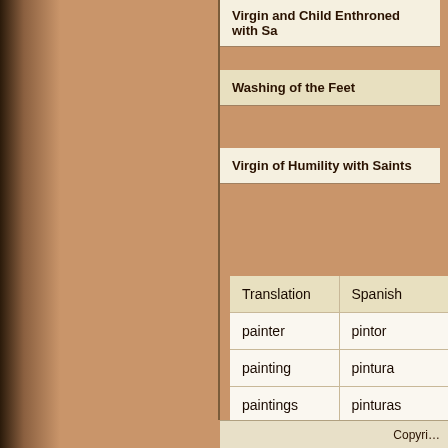Virgin and Child Enthroned with Sa…
Washing of the Feet
Virgin of Humility with Saints
| Translation | Spanish |
| --- | --- |
| painter | pintor |
| painting | pintura |
| paintings | pinturas |
| biography | biograf◆ |
| gallery | galer◆a |
Copyri…